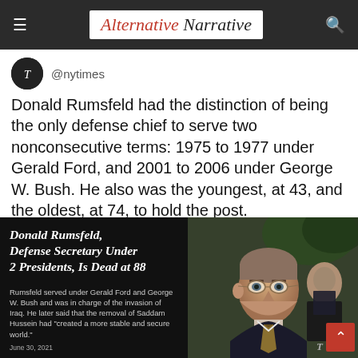Alternative Narrative
@nytimes
Donald Rumsfeld had the distinction of being the only defense chief to serve two nonconsecutive terms: 1975 to 1977 under Gerald Ford, and 2001 to 2006 under George W. Bush. He also was the youngest, at 43, and the oldest, at 74, to hold the post.
nyti.ms/2UOUaaJ
[Figure (photo): New York Times article card with headline 'Donald Rumsfeld, Defense Secretary Under 2 Presidents, Is Dead at 88' on a dark background, alongside a photo of Donald Rumsfeld. Caption reads: 'Rumsfeld served under Gerald Ford and George W. Bush and was in charge of the invasion of Iraq. He later said that the removal of Saddam Hussein had "created a more stable and secure world."' Dated June 30, 2021.]